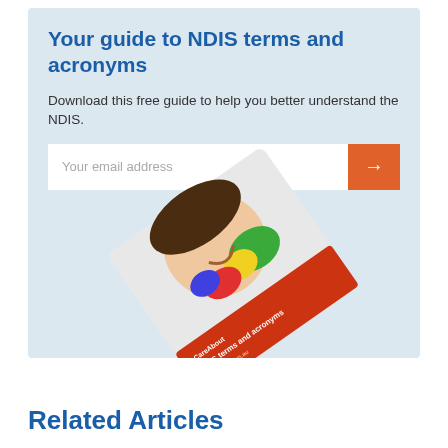Your guide to NDIS terms and acronyms
Download this free guide to help you better understand the NDIS.
[Figure (illustration): Email input field with orange submit arrow button, and a photo of a smiling child with painted hands holding a red booklet titled 'NDIS terms and acronyms']
Related Articles